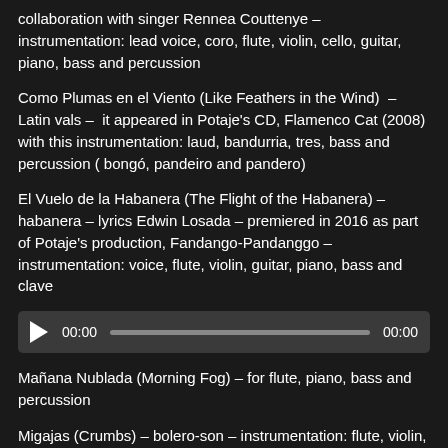collaboration with singer Rennea Couttenye – instrumentation: lead voice, coro, flute, violin, cello, guitar, piano, bass and percussion
Como Plumas en el Viento (Like Feathers in the Wind) – Latin vals – it appeared in Potaje's CD, Flamenco Cat (2008) with this instrumentation: laud, bandurria, tres, bass and percussion (bongó, pandeiro and pandero)
El Vuelo de la Habanera (The Flight of the Habanera) – habanera – lyrics Edwin Losada – premiered in 2016 as part of Potaje's production, Fandango-Pandanggo – instrumentation: voice, flute, violin, guitar, piano, bass and clave
[Figure (other): Audio player widget with play button, time display showing 00:00, progress bar, and end time 00:00]
Mañana Nublada (Morning Fog) – for flute, piano, bass and percussion
Migajas (Crumbs) – bolero-son – instrumentation: flute, violin, cello, guitar, piano, bass and percussion
Puentes (Bridges) – instrumentation: flute, violin, guitar, piano,